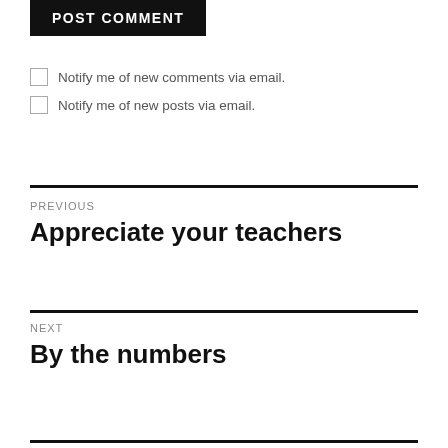POST COMMENT
Notify me of new comments via email.
Notify me of new posts via email.
PREVIOUS
Appreciate your teachers
NEXT
By the numbers